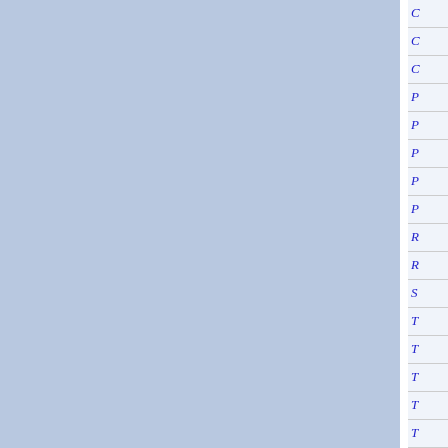[Figure (other): Navigation index panel on the right side showing alphabetical/topic index entries starting with C, C, P, P, P, P, P, R, R, S, T, T, T, T, T in italic blue text on light background. Two blue-shaded content panels on the left separated by a white vertical divider.]